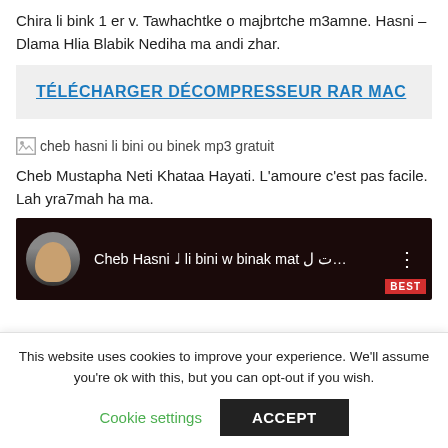Chira li bink 1 er v. Tawhachtke o majbrtche m3amne. Hasni – Dlama Hlia Blabik Nediha ma andi zhar.
TÉLÉCHARGER DÉCOMPRESSEUR RAR MAC
[Figure (other): Broken image placeholder with alt text: cheb hasni li bini ou binek mp3 gratuit]
Cheb Mustapha Neti Khataa Hayati. L'amoure c'est pas facile. Lah yra7mah ha ma.
[Figure (screenshot): YouTube video thumbnail showing Cheb Hasni with title: Cheb Hasni ♩ li bini w binak mat ت ل… with three-dot menu and BEST label]
This website uses cookies to improve your experience. We'll assume you're ok with this, but you can opt-out if you wish.
Cookie settings   ACCEPT